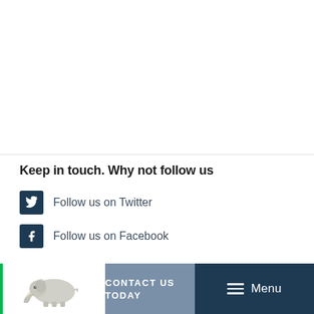Keep in touch. Why not follow us
Follow us on Twitter
Follow us on Facebook
Terms of use
CONTACT US TODAY   Menu